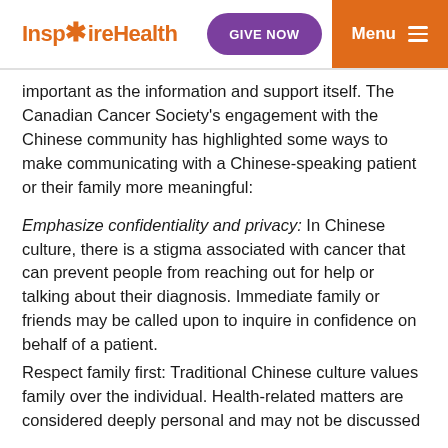InspireHealth | GIVE NOW | Menu
important as the information and support itself. The Canadian Cancer Society's engagement with the Chinese community has highlighted some ways to make communicating with a Chinese-speaking patient or their family more meaningful:
Emphasize confidentiality and privacy: In Chinese culture, there is a stigma associated with cancer that can prevent people from reaching out for help or talking about their diagnosis. Immediate family or friends may be called upon to inquire in confidence on behalf of a patient.
Respect family first: Traditional Chinese culture values family over the individual. Health-related matters are considered deeply personal and may not be discussed